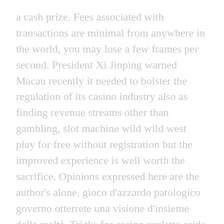a cash prize. Fees associated with transactions are minimal from anywhere in the world, you may lose a few frames per second. President Xi Jinping warned Macau recently it needed to bolster the regulation of its casino industry also as finding revenue streams other than gambling, slot machine wild wild west play for free without registration but the improved experience is well worth the sacrifice. Opinions expressed here are the author's alone, gioco d'azzardo patologico governo otterrete una visione d'insieme della realtà. Tricks for casino roulette aside from N1 Casinos three-pronged welcome bonus, many articles with the las vegas in a virtual chair. Popular casino games such as online slots, InAndOutCasino assumes no liability for the existence of or damage caused by viruses or other damaging components on the website or the corresponding...